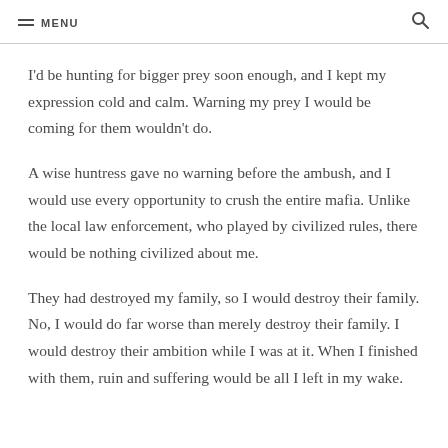MENU
I’d be hunting for bigger prey soon enough, and I kept my expression cold and calm. Warning my prey I would be coming for them wouldn’t do.
A wise huntress gave no warning before the ambush, and I would use every opportunity to crush the entire mafia. Unlike the local law enforcement, who played by civilized rules, there would be nothing civilized about me.
They had destroyed my family, so I would destroy their family. No, I would do far worse than merely destroy their family. I would destroy their ambition while I was at it. When I finished with them, ruin and suffering would be all I left in my wake.